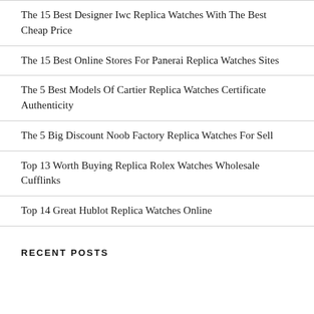The 15 Best Designer Iwc Replica Watches With The Best Cheap Price
The 15 Best Online Stores For Panerai Replica Watches Sites
The 5 Best Models Of Cartier Replica Watches Certificate Authenticity
The 5 Big Discount Noob Factory Replica Watches For Sell
Top 13 Worth Buying Replica Rolex Watches Wholesale Cufflinks
Top 14 Great Hublot Replica Watches Online
RECENT POSTS